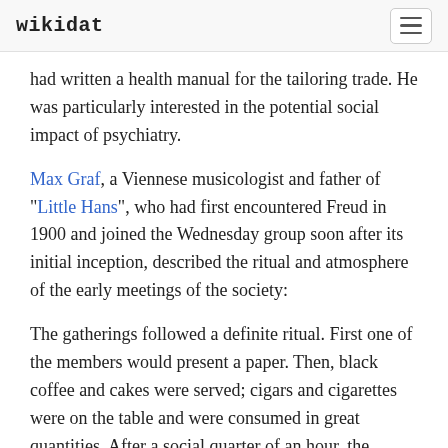wikidat
had written a health manual for the tailoring trade. He was particularly interested in the potential social impact of psychiatry.
Max Graf, a Viennese musicologist and father of "Little Hans", who had first encountered Freud in 1900 and joined the Wednesday group soon after its initial inception, described the ritual and atmosphere of the early meetings of the society:
The gatherings followed a definite ritual. First one of the members would present a paper. Then, black coffee and cakes were served; cigars and cigarettes were on the table and were consumed in great quantities. After a social quarter of an hour, the discussion would begin. The last and decisive word was always spoken by Freud himself. There was the atmosphere of the foundation of a religion